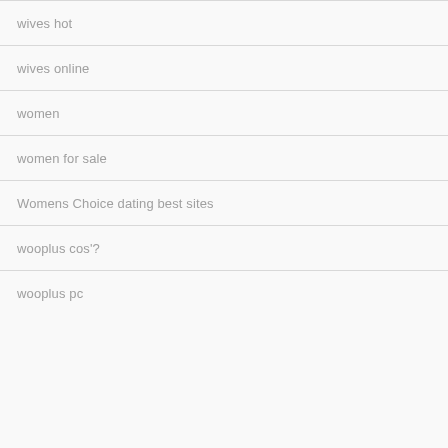wives hot
wives online
women
women for sale
Womens Choice dating best sites
wooplus cos'?
wooplus pc